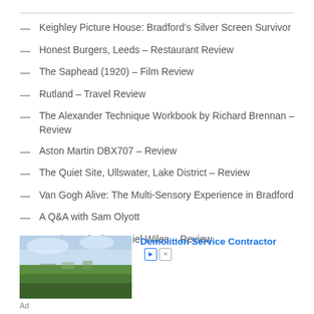Keighley Picture House: Bradford's Silver Screen Survivor
Honest Burgers, Leeds – Restaurant Review
The Saphead (1920) – Film Review
Rutland – Travel Review
The Alexander Technique Workbook by Richard Brennan – Review
Aston Martin DBX707 – Review
The Quiet Site, Ullswater, Lake District – Review
Van Gogh Alive: The Multi-Sensory Experience in Bradford
A Q&A with Sam Olyott
Mercia's Take by Daniel Wiles – Review
[Figure (photo): Green field landscape with blue sky, part of an advertisement for a Demolition Service Contractor]
Ad